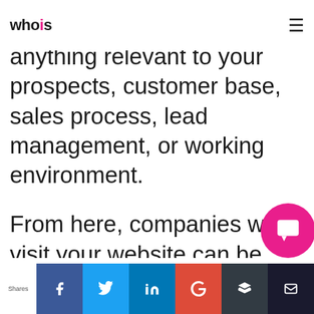whois
These categories could be anything relevant to your prospects, customer base, sales process, lead management, or working environment.
From here, companies who visit your website can be assigned to a particular category for greater clarity and organisation going forward.
This cleans up the ‘noise’ of the visitor dashboard and allows you to
Shares